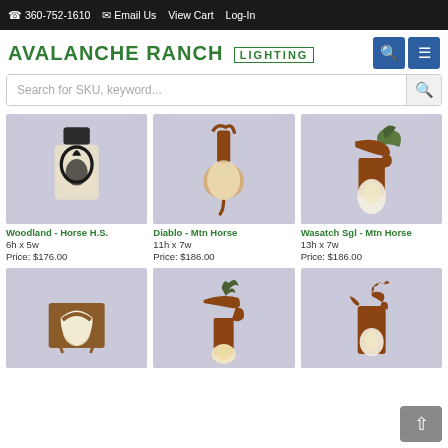360-752-1610  Email Us  View Cart  Log-In
[Figure (logo): Avalanche Ranch Lighting logo in green text]
Search for SKU, keyword...
[Figure (photo): Woodland - Horse H.S. wall sconce light fixture]
Woodland - Horse H.S.
6h x 5w
Price: $176.00
[Figure (photo): Diablo - Mtn Horse wall sconce light fixture]
Diablo - Mtn Horse
11h x 7w
Price: $186.00
[Figure (photo): Wasatch Sgl - Mtn Horse wall sconce light fixture]
Wasatch Sgl - Mtn Horse
13h x 7w
Price: $186.00
[Figure (photo): Horseshoe wall sconce light fixture]
[Figure (photo): Tree and horse wall sconce light fixture]
[Figure (photo): Cowboy wall sconce light fixture]